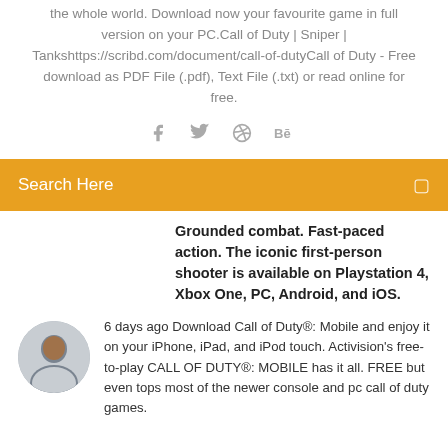the whole world. Download now your favourite game in full version on your PC.Call of Duty | Sniper | Tankshttps://scribd.com/document/call-of-dutyCall of Duty - Free download as PDF File (.pdf), Text File (.txt) or read online for free.
[Figure (other): Social media icons: Facebook, Twitter, Dribbble, Behance]
Search Here
Grounded combat. Fast-paced action. The iconic first-person shooter is available on Playstation 4, Xbox One, PC, Android, and iOS.
[Figure (photo): Circular avatar of a man]
6 days ago Download Call of Duty®: Mobile and enjoy it on your iPhone, iPad, and iPod touch. Activision's free-to-play CALL OF DUTY®: MOBILE has it all. FREE but even tops most of the newer console and pc call of duty games.